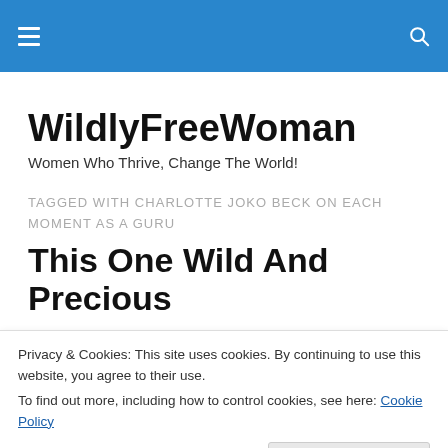WildlyFreeWoman — navigation header bar
WildlyFreeWoman
Women Who Thrive, Change The World!
TAGGED WITH CHARLOTTE JOKO BECK ON EACH MOMENT AS A GURU
This One Wild And Precious
Privacy & Cookies: This site uses cookies. By continuing to use this website, you agree to their use.
To find out more, including how to control cookies, see here: Cookie Policy
[Figure (photo): Outdoor nature photo at the bottom of the page]